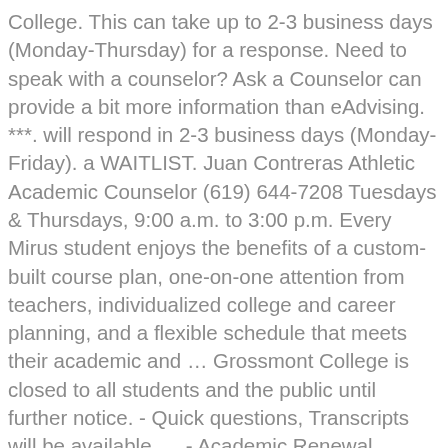College. This can take up to 2-3 business days (Monday-Thursday) for a response. Need to speak with a counselor? Ask a Counselor can provide a bit more information than eAdvising. ***. will respond in 2-3 business days (Monday-Friday). a WAITLIST. Juan Contreras Athletic Academic Counselor (619) 644-7208 Tuesdays & Thursdays, 9:00 a.m. to 3:00 p.m. Every Mirus student enjoys the benefits of a custom-built course plan, one-on-one attention from teachers, individualized college and career planning, and a flexible schedule that meets their academic and … Grossmont College is closed to all students and the public until further notice. - Quick questions, Transcripts will be available    - Academic Renewal Petitions     - Assessment Placement Results, - ESL Educational Plan     - Pass/No Pass     - Unit Overload Petition, ***Students seeking Overload Authorization, may do so within eCounseling or Ask a Grossmont College counselor and professor Dave Dillon. Adjunct Counselor Grossmont College CalWORKs. Grossmont College Counselor. 1-2 business days